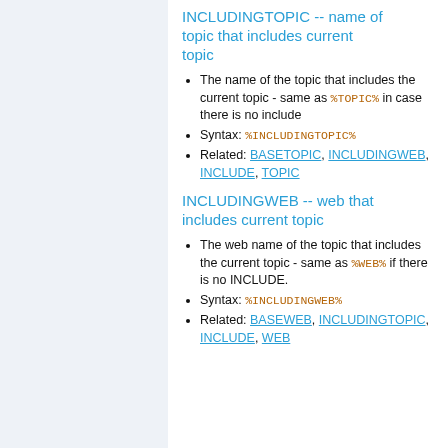INCLUDINGTOPIC -- name of topic that includes current topic
The name of the topic that includes the current topic - same as %TOPIC% in case there is no include
Syntax: %INCLUDINGTOPIC%
Related: BASETOPIC, INCLUDINGWEB, INCLUDE, TOPIC
INCLUDINGWEB -- web that includes current topic
The web name of the topic that includes the current topic - same as %WEB% if there is no INCLUDE.
Syntax: %INCLUDINGWEB%
Related: BASEWEB, INCLUDINGTOPIC, INCLUDE, WEB